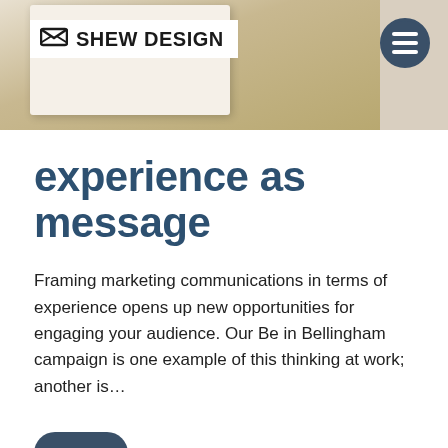[Figure (photo): Header photo showing a wooden surface with a white envelope or paper, with the Shew Design logo overlaid on the left and a circular menu icon on the right]
experience as message
Framing marketing communications in terms of experience opens up new opportunities for engaging your audience. Our Be in Bellingham campaign is one example of this thinking at work; another is…
more